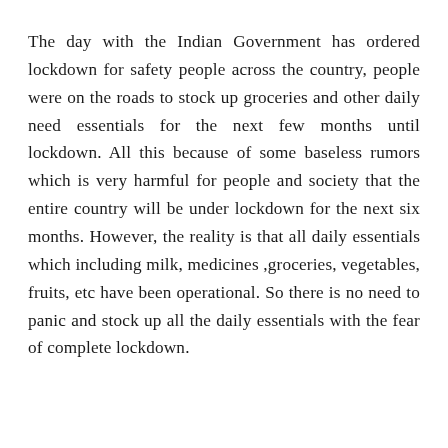The day with the Indian Government has ordered lockdown for safety people across the country, people were on the roads to stock up groceries and other daily need essentials for the next few months until lockdown. All this because of some baseless rumors which is very harmful for people and society that the entire country will be under lockdown for the next six months. However, the reality is that all daily essentials which including milk, medicines ,groceries, vegetables, fruits, etc have been operational. So there is no need to panic and stock up all the daily essentials with the fear of complete lockdown.